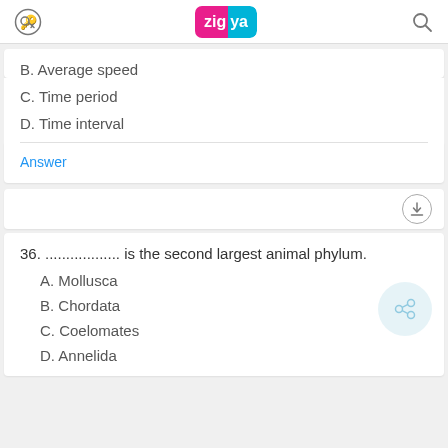Zigya
B. Average speed
C. Time period
D. Time interval
Answer
36. .................. is the second largest animal phylum.
A. Mollusca
B. Chordata
C. Coelomates
D. Annelida